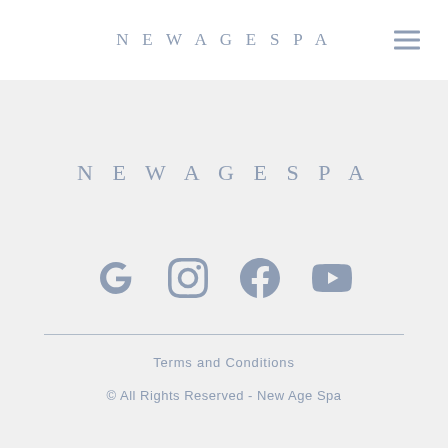NEWAGESPA
NEWAGESPA
[Figure (logo): Social media icons: Google, Instagram, Facebook, YouTube]
Terms and Conditions
© All Rights Reserved - New Age Spa